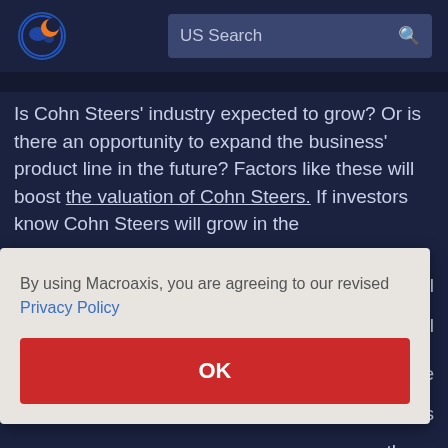[Figure (logo): Macroaxis globe logo with orange and blue colors]
US Search
Is Cohn Steers' industry expected to grow? Or is there an opportunity to expand the business' product line in the future? Factors like these will boost the valuation of Cohn Steers. If investors know Cohn Steers will grow in the financial essential be is thers.
By using Macroaxis, you are agreeing to our revised Privacy Policy
OK